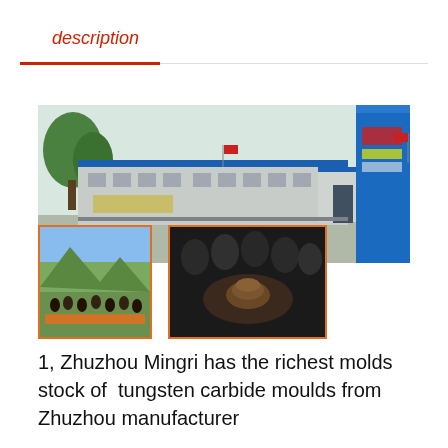description
[Figure (photo): Factory exterior photo of Zhuzhou Mingri showing building with blue roof and blue tall structure on right, plus two inset photos: a group photo outdoors and a team photo showing people joining hands]
1, Zhuzhou Mingri has the richest molds stock of  tungsten carbide moulds from Zhuzhou manufacturer